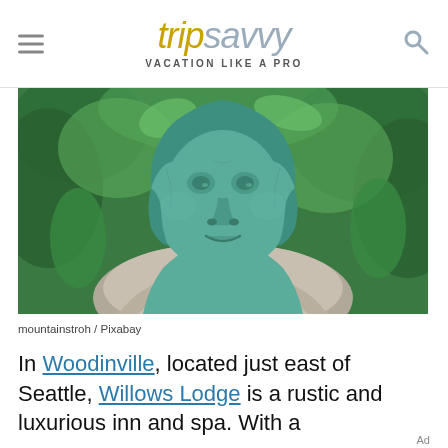tripsavvy VACATION LIKE A PRO
[Figure (photo): A teal/green patinated sculpture of a human face with a bob haircut, resting on a rough granite rock, surrounded by lush green foliage]
mountainstroh / Pixabay
In Woodinville, located just east of Seattle, Willows Lodge is a rustic and luxurious inn and spa. With a